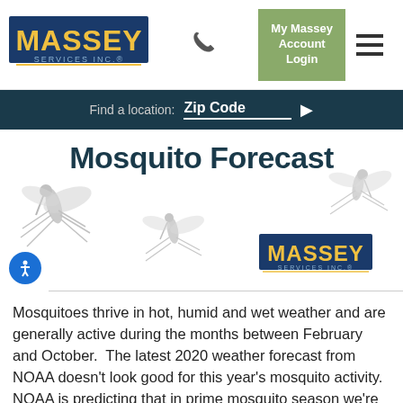[Figure (logo): Massey Services Inc. logo in blue and gold, top-left header]
[Figure (logo): Phone icon in header navigation]
[Figure (logo): My Massey Account Login button (green background) and hamburger menu]
Find a location:  Zip Code ▶
Mosquito Forecast
[Figure (illustration): Three gray silhouette mosquito illustrations around the title area, plus Massey Services Inc. logo (smaller) in lower right of hero, accessibility icon button lower left]
Mosquitoes thrive in hot, humid and wet weather and are generally active during the months between February and October.  The latest 2020 weather forecast from NOAA doesn't look good for this year's mosquito activity.  NOAA is predicting that in prime mosquito season we're going to see higher than normal temperatures and higher than normal rainfall throughout most of the southeast and Texas.